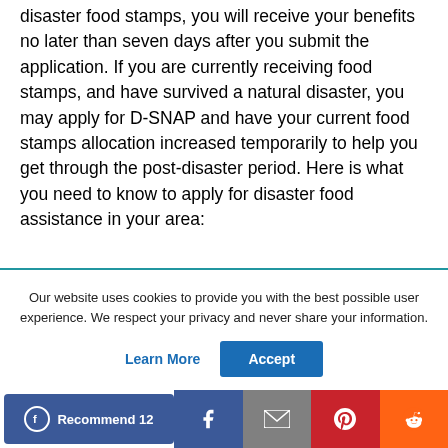disaster food stamps, you will receive your benefits no later than seven days after you submit the application. If you are currently receiving food stamps, and have survived a natural disaster, you may apply for D-SNAP and have your current food stamps allocation increased temporarily to help you get through the post-disaster period. Here is what you need to know to apply for disaster food assistance in your area:
Our website uses cookies to provide you with the best possible user experience. We respect your privacy and never share your information.
Recommend 12 [Facebook] [Gmail] [Pinterest] [Reddit]